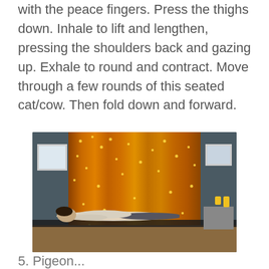with the peace fingers. Press the thighs down. Inhale to lift and lengthen, pressing the shoulders back and gazing up. Exhale to round and contract. Move through a few rounds of this seated cat/cow. Then fold down and forward.
[Figure (photo): A person lying face down on a yoga mat in a studio with orange/gold curtains decorated with string lights, dark grey walls with framed artwork, and candles on a side table.]
5. Pigeon...